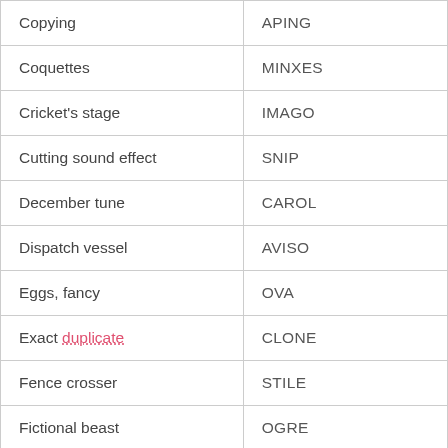| Copying | APING |
| Coquettes | MINXES |
| Cricket's stage | IMAGO |
| Cutting sound effect | SNIP |
| December tune | CAROL |
| Dispatch vessel | AVISO |
| Eggs, fancy | OVA |
| Exact duplicate | CLONE |
| Fence crosser | STILE |
| Fictional beast | OGRE |